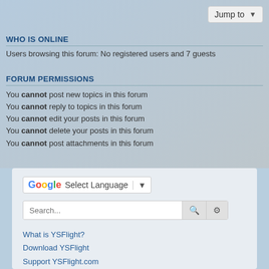Jump to
WHO IS ONLINE
Users browsing this forum: No registered users and 7 guests
FORUM PERMISSIONS
You cannot post new topics in this forum
You cannot reply to topics in this forum
You cannot edit your posts in this forum
You cannot delete your posts in this forum
You cannot post attachments in this forum
[Figure (other): Google Translate widget with Select Language dropdown]
Search...
What is YSFlight?
Download YSFlight
Support YSFlight.com
General YS FAQ
YSFlight Wiki
YSFlight Wishlist
Multiplayer
Joining A Server
Combat Standards